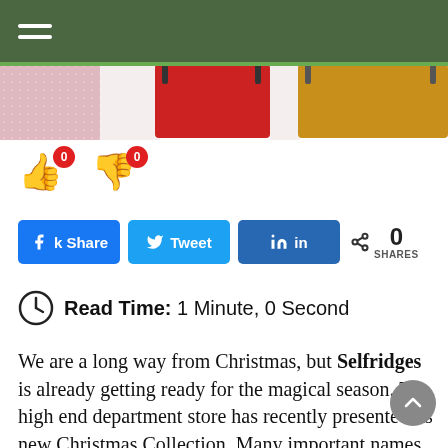[Figure (photo): Navigation bar with dark green background and hamburger menu icon (three white horizontal lines)]
[Figure (photo): Hero image showing colorful bags/shoes arranged in a row — pink glittery, red, and yellow items visible]
[Figure (infographic): Vote buttons: thumbs up emoji with red badge showing 0, and thumbs down emoji with red badge showing 0]
[Figure (infographic): Social share buttons: blue Facebook 'k Share', blue Twitter bird, dark blue LinkedIn 'in', and a share count of 0 SHARES]
Read Time:  1 Minute, 0 Second
We are a long way from Christmas, but Selfridges is already getting ready for the magical season. The high end department store has recently presented its new Christmas Collection. Many important names of the fashion industry have